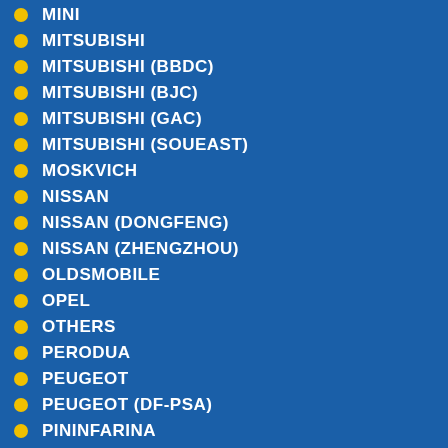MINI
MITSUBISHI
MITSUBISHI (BBDC)
MITSUBISHI (BJC)
MITSUBISHI (GAC)
MITSUBISHI (SOUEAST)
MOSKVICH
NISSAN
NISSAN (DONGFENG)
NISSAN (ZHENGZHOU)
OLDSMOBILE
OPEL
OTHERS
PERODUA
PEUGEOT
PEUGEOT (DF-PSA)
PININFARINA
PLYMOUTH
PONTIAC
PORSCHE
Page: 1/15 Total 145 Records
<<First <Previous 1 2 3 4